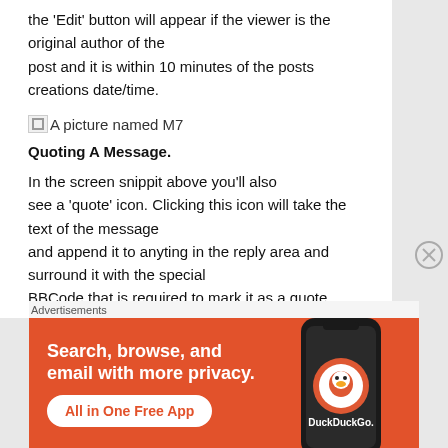the 'Edit' button will appear if the viewer is the original author of the post and it is within 10 minutes of the posts creations date/time.
[Figure (other): Broken image placeholder labeled 'A picture named M7']
Quoting A Message.
In the screen snippit above you'll also see a 'quote' icon. Clicking this icon will take the text of the message and append it to anyting in the reply area and surround it with the special BBCode that is required to mark it as a quote.
[Figure (other): DuckDuckGo advertisement banner: 'Search, browse, and email with more privacy. All in One Free App']